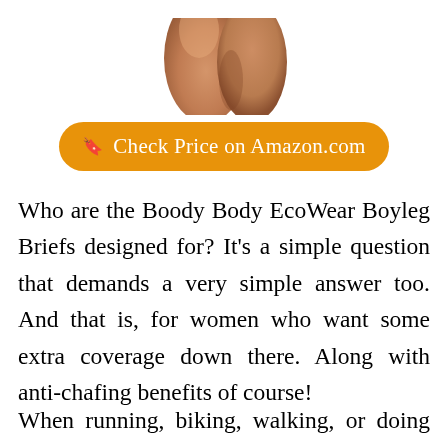[Figure (photo): Close-up photo of a person's legs/lower body, cropped at the top of the page, skin-toned against white background]
🔖  Check Price on Amazon.com
Who are the Boody Body EcoWear Boyleg Briefs designed for? It's a simple question that demands a very simple answer too. And that is, for women who want some extra coverage down there. Along with anti-chafing benefits of course!
When running, biking, walking, or doing just about anything, they become your best